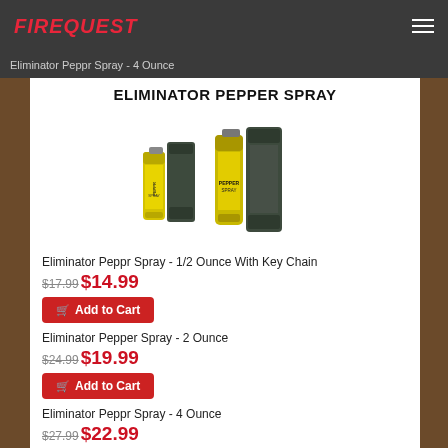FIREQUEST
Eliminator Peppr Spray - 4 Ounce
ELIMINATOR PEPPER SPRAY
[Figure (photo): Two yellow pepper spray canisters with dark green belt clip holsters/pouches, shown side by side]
Eliminator Peppr Spray - 1/2 Ounce With Key Chain
$17.99 $14.99
Add to Cart
Eliminator Pepper Spray - 2 Ounce
$24.99 $19.99
Add to Cart
Eliminator Peppr Spray - 4 Ounce
$27.99 $22.99